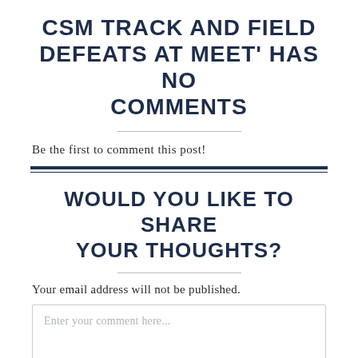CSM TRACK AND FIELD DEFEATS AT MEET' HAS NO COMMENTS
Be the first to comment this post!
WOULD YOU LIKE TO SHARE YOUR THOUGHTS?
Your email address will not be published.
Enter your comment here...